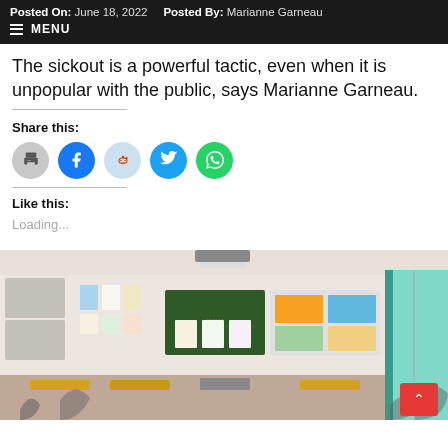Posted On: June 18, 2022   Posted By: Marianne Garneau
The sickout is a powerful tactic, even when it is unpopular with the public, says Marianne Garneau.
Share this:
[Figure (other): Social sharing buttons: Print (grey circle), Facebook (blue circle), Reddit (light blue circle), Twitter (cyan circle), WhatsApp (green circle)]
Like this:
Loading...
[Figure (photo): Empty elementary school classroom with bulletin boards on the wall, chairs and tables, and a window with teal curtains on the right side.]